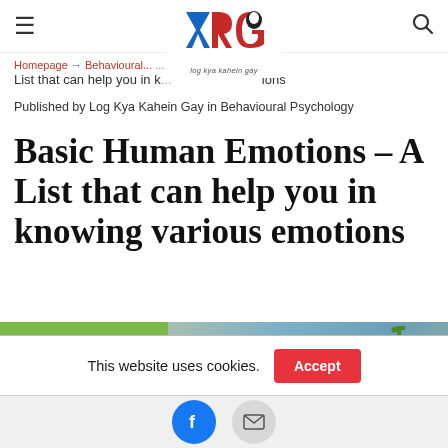≡  [Logo: YRG Log Kya Kahein Gay]  🔍
Homepage → Behavioural... → Human Emotions → A List that can help you in k... ions
Published by Log Kya Kahein Gay in Behavioural Psychology
Basic Human Emotions – A List that can help you in knowing various emotions
[Figure (illustration): Green panel with text EMOTIONS MAKE on left, and a photo of a cartoon-faced orange emoji on blurred background on right]
This website uses cookies.  [Accept button]
[Facebook icon button]  [Mail icon button]